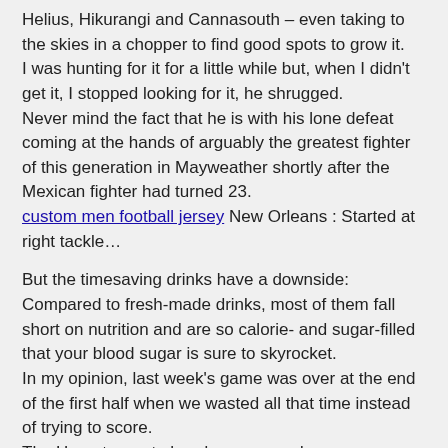Helius, Hikurangi and Cannasouth – even taking to the skies in a chopper to find good spots to grow it.
I was hunting for it for a little while but, when I didn't get it, I stopped looking for it, he shrugged.
Never mind the fact that he is with his lone defeat coming at the hands of arguably the greatest fighter of this generation in Mayweather shortly after the Mexican fighter had turned 23.
custom men football jersey New Orleans : Started at right tackle…
But the timesaving drinks have a downside: Compared to fresh-made drinks, most of them fall short on nutrition and are so calorie- and sugar-filled that your blood sugar is sure to skyrocket.
In my opinion, last week's game was over at the end of the first half when we wasted all that time instead of trying to score.
The Hornets went ahead anyway and now owe Batum, whose numbers declined last season and gotten worse to start this one, roughly $80 million through 2021.
Terry and Kelvin are – knocking on wood right now – are very good, head coach Jay Gruden said during OTAs.
Scarnecchia fulfilled the obligation for seven of the Patriots final eight games and held the responsibilities of the head coach for both of the Patriots victories that season.
Lorenz told correspondent Jonathan Vigliotti, I think people are freaking out about the removal of likes because it seems so com…